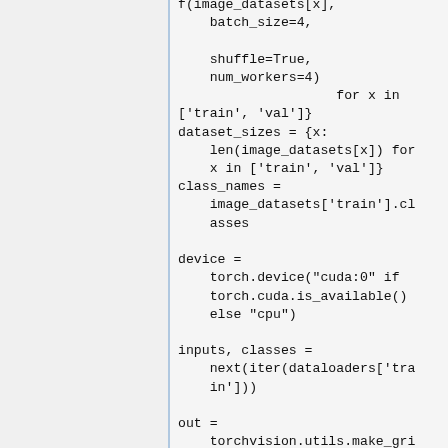f(image_datasets[x],
    batch_size=4,

    shuffle=True,
    num_workers=4)
                    for x in
    ['train', 'val']}
dataset_sizes = {x:
    len(image_datasets[x]) for
    x in ['train', 'val']}
class_names =
    image_datasets['train'].cl
    asses

device =
    torch.device("cuda:0" if
    torch.cuda.is_available()
    else "cpu")

inputs, classes =
    next(iter(dataloaders['tra
    in']))

out =
    torchvision.utils.make_gri